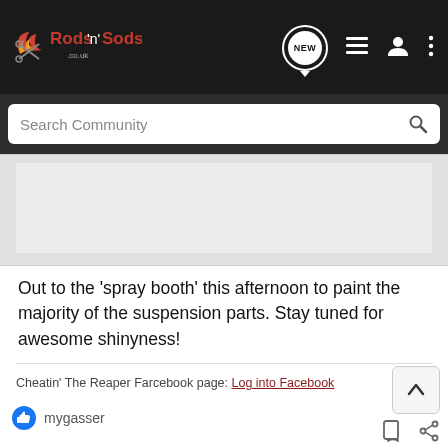Rods 'n' Sods
[Figure (screenshot): Search Community bar with magnifying glass icon]
[Figure (photo): Gray placeholder image area]
Out to the 'spray booth' this afternoon to paint the majority of the suspension parts. Stay tuned for awesome shinyness!
Cheatin' The Reaper Farcebook page: Log into Facebook
mygasser